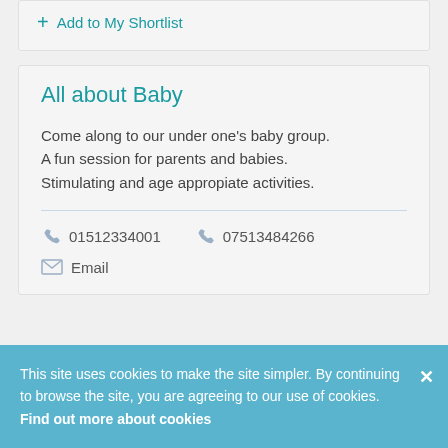+ Add to My Shortlist
All about Baby
Come along to our under one's baby group. A fun session for parents and babies. Stimulating and age appropiate activities.
01512334001   07513484266
Email
This site uses cookies to make the site simpler. By continuing to browse the site, you are agreeing to our use of cookies. Find out more about cookies